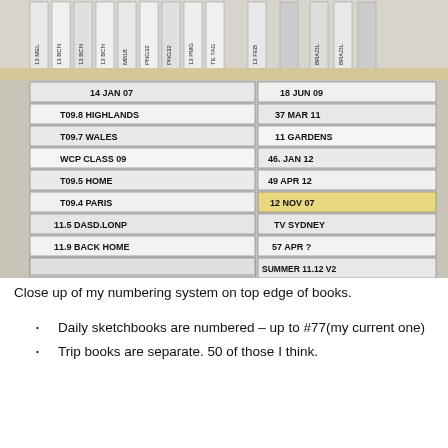[Figure (photo): Close-up photograph of stacked sketchbooks/notebooks on a shelf, showing their spines and top edges with handwritten labels including dates, locations, and numbering systems such as T09.8 HIGHLANDS, T09.7 WALES, WCP CLASS 09, T09.5 HOME, T09.4 PARIS, 11.5 DASD.LONP, 11.9 BACK HOME, 11.2 LISBON, 11.1 NBWC EDN.LIS8, 18 JUN 09, 37 MAR 11, 11 GARDENS, 46 JAN 12, 49 APR 12, 12 NOV 07, TV SYDNEY, 57 APR ?, SUMMER 11.12 V2, SUMMER 11.12 V1, 12.1 SDQ]
Close up of my numbering system on top edge of books.
Daily sketchbooks are numbered – up to #77(my current one)
Trip books are separate. 50 of those I think.